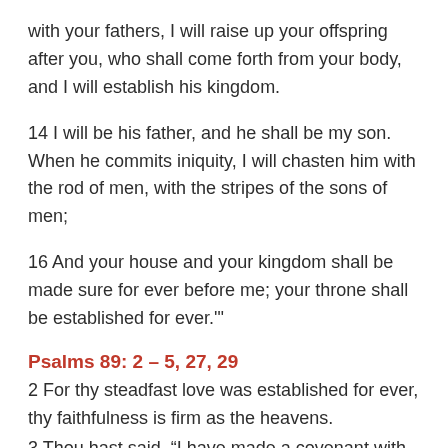with your fathers, I will raise up your offspring after you, who shall come forth from your body, and I will establish his kingdom.
14 I will be his father, and he shall be my son. When he commits iniquity, I will chasten him with the rod of men, with the stripes of the sons of men;
16 And your house and your kingdom shall be made sure for ever before me; your throne shall be established for ever.'"
Psalms 89: 2 – 5, 27, 29
2 For thy steadfast love was established for ever, thy faithfulness is firm as the heavens.
3 Thou hast said, “I have made a covenant with my chosen one, I have sworn to David my servant:
4 `I will establish your descendants for ever, and build your